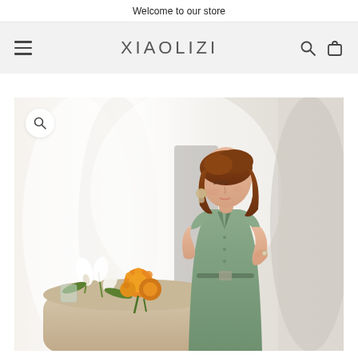Welcome to our store
XIAOLIZI
[Figure (photo): Fashion product photo: a woman wearing a sage green short-sleeve collared dress, posed with eyes closed touching her neck, with white curtain background and a table with white calla lilies and orange flowers in the foreground.]